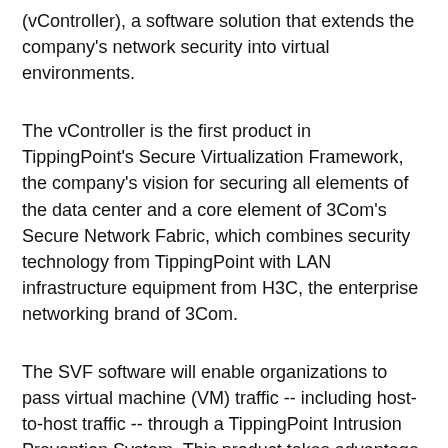(vController), a software solution that extends the company's network security into virtual environments.
The vController is the first product in TippingPoint's Secure Virtualization Framework, the company's vision for securing all elements of the data center and a core element of 3Com's Secure Network Fabric, which combines security technology from TippingPoint with LAN infrastructure equipment from H3C, the enterprise networking brand of 3Com.
The SVF software will enable organizations to pass virtual machine (VM) traffic -- including host-to-host traffic -- through a TippingPoint Intrusion Prevention System. This product takes advantage of the specialized processing performance built into TippingPoint's N-Platform, including a newly redesigned and more powerful Threat Suppression Engine (TSE) that can effectively inspect more traffic. Since the traffic is passed through the IPS, it is inspected and filtered with TippingPoint's Digital Vaccine service, which uses security intelligence from TippingPoint's DVLabs, as well as